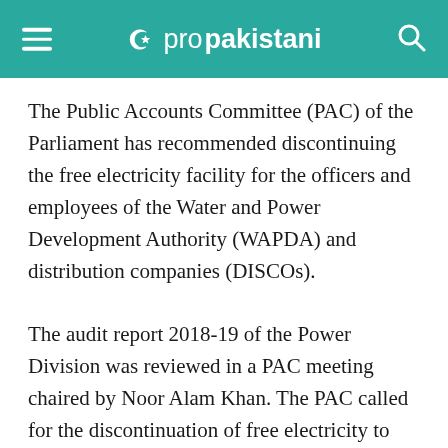☪ propakistani
The Public Accounts Committee (PAC) of the Parliament has recommended discontinuing the free electricity facility for the officers and employees of the Water and Power Development Authority (WAPDA) and distribution companies (DISCOs).
The audit report 2018-19 of the Power Division was reviewed in a PAC meeting chaired by Noor Alam Khan. The PAC called for the discontinuation of free electricity to the officers and employees of the power sector.